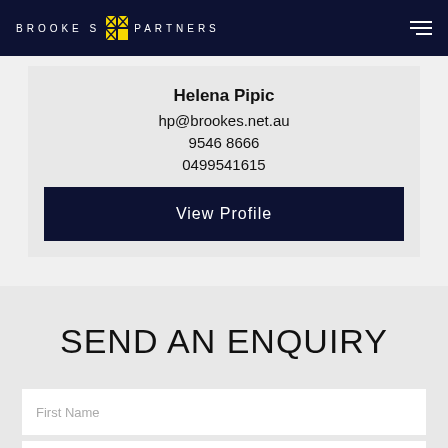BROOKES PARTNERS
Helena Pipic
hp@brookes.net.au
9546 8666
0499541615
View Profile
SEND AN ENQUIRY
First Name